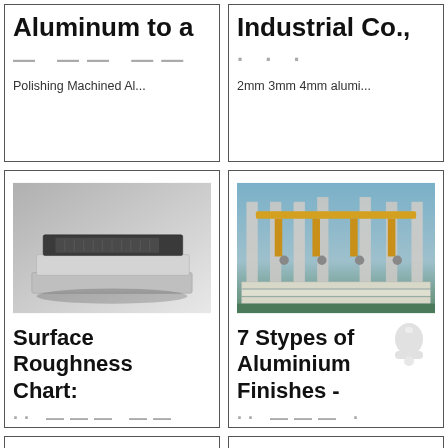Machined Aluminum to a Mirror Finish
Polishing Machined Al...
Flasher Industrial Co., ...
2mm 3mm 4mm alumi...
[Figure (photo): Stack of brushed aluminum plates with a black top surface, showing surface finish textures]
Surface Roughness Chart:
2021-2-25 · High-qual...
[Figure (photo): Industrial factory floor with yellow overhead crane machinery stacking large aluminum sheets]
7 Stypes of Aluminium Finishes -
The natural finish and ...